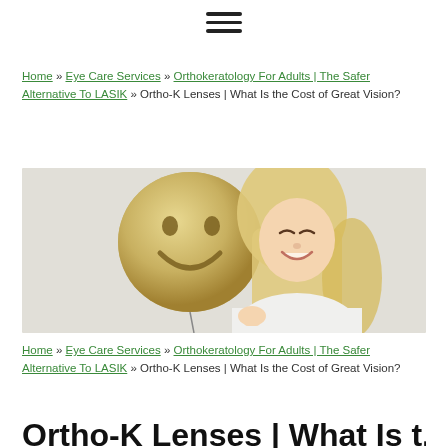≡ (hamburger menu icon)
Home » Eye Care Services » Orthokeratology For Adults | The Safer Alternative To LASIK » Ortho-K Lenses | What Is the Cost of Great Vision?
[Figure (photo): Smiling blond woman holding a golden smiley face balloon against a light grey background]
Home » Eye Care Services » Orthokeratology For Adults | The Safer Alternative To LASIK » Ortho-K Lenses | What Is the Cost of Great Vision?
Ortho-K Lenses | What Is the...